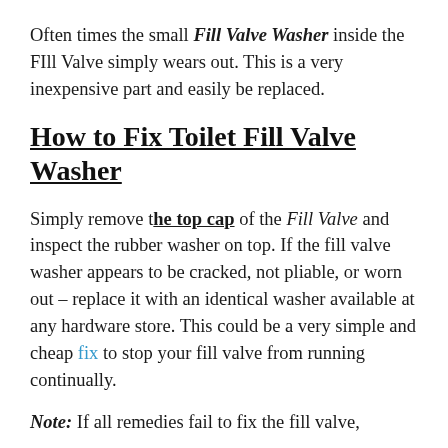Often times the small Fill Valve Washer inside the FIll Valve simply wears out. This is a very inexpensive part and easily be replaced.
How to Fix Toilet Fill Valve Washer
Simply remove the top cap of the Fill Valve and inspect the rubber washer on top. If the fill valve washer appears to be cracked, not pliable, or worn out – replace it with an identical washer available at any hardware store. This could be a very simple and cheap fix to stop your fill valve from running continually.
Note:  If all remedies fail to fix the fill valve,